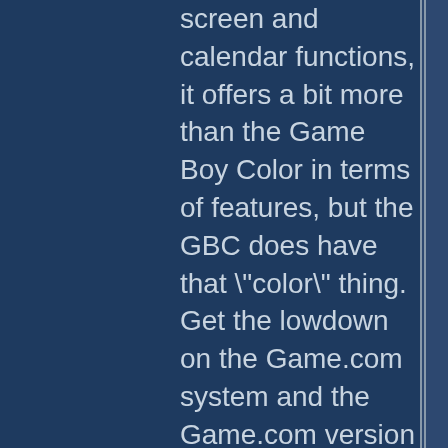screen and calendar functions, it offers a bit more than the Game Boy Color in terms of features, but the GBC does have that "color" thing. Get the lowdown on the Game.com system and the Game.com version of Resident Evil 2 in this review from